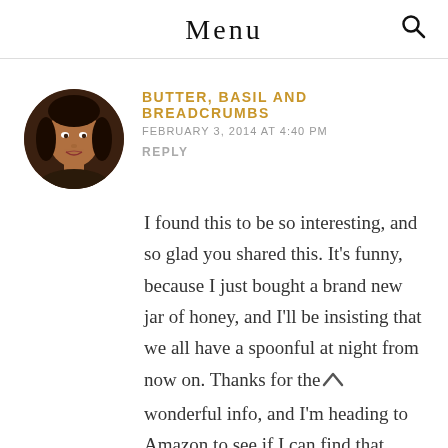Menu
BUTTER, BASIL AND BREADCRUMBS
FEBRUARY 3, 2014 AT 4:40 PM
REPLY
[Figure (photo): Circular avatar photo of a woman with dark hair]
I found this to be so interesting, and so glad you shared this. It's funny, because I just bought a brand new jar of honey, and I'll be insisting that we all have a spoonful at night from now on. Thanks for the wonderful info, and I'm heading to Amazon to see if I can find that book. 🙂